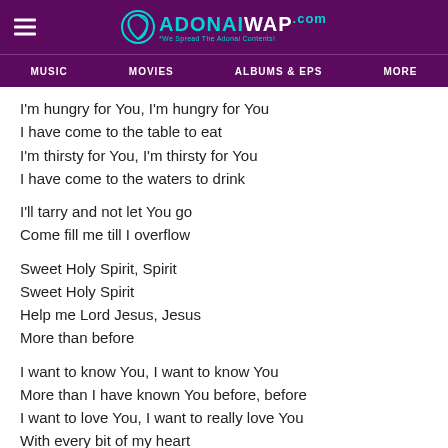ADONAIWAP.com — We Spread the Adonai Contents!
MUSIC   MOVIES   ALBUMS & EPS   MORE
I'm hungry for You, I'm hungry for You
I have come to the table to eat
I'm thirsty for You, I'm thirsty for You
I have come to the waters to drink
I'll tarry and not let You go
Come fill me till I overflow
Sweet Holy Spirit, Spirit
Sweet Holy Spirit
Help me Lord Jesus, Jesus
More than before
I want to know You, I want to know You
More than I have known You before, before
I want to love You, I want to really love You
With every bit of my heart